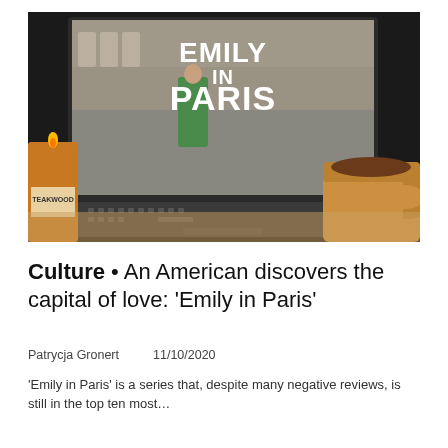[Figure (photo): A laptop displaying the 'Emily in Paris' Netflix title screen showing a woman in a green coat standing in a Parisian square with bold white text 'EMILY IN PARIS'. Next to the laptop is a lit amber candle labeled 'TEAKWOOD' and a yellow/orange ceramic coffee mug on a wooden surface.]
Culture • An American discovers the capital of love: ‘Emily in Paris’
Patrycja Gronert    11/10/2020
‘Emily in Paris’ is a series that, despite many negative reviews, is still in the top ten most…